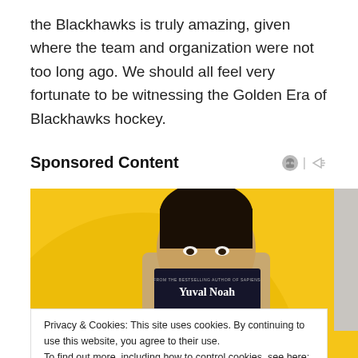the Blackhawks is truly amazing, given where the team and organization were not too long ago. We should all feel very fortunate to be witnessing the Golden Era of Blackhawks hockey.
Sponsored Content
[Figure (photo): A person holding a book titled 'Yuval Noah' (partially visible) in front of their face, with a yellow and beige background.]
Privacy & Cookies: This site uses cookies. By continuing to use this website, you agree to their use.
To find out more, including how to control cookies, see here: Cookie Policy
Close and accept